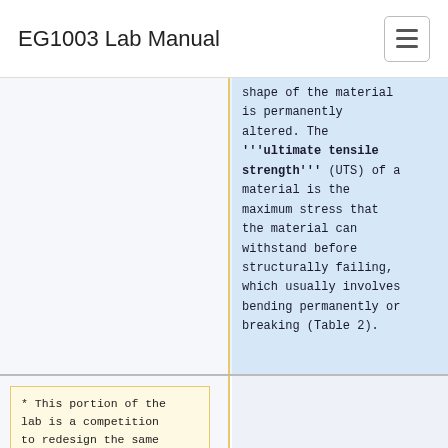EG1003 Lab Manual
shape of the material is permanently altered. The '''ultimate tensile strength''' (UTS) of a material is the maximum stress that the material can withstand before structurally failing, which usually involves bending permanently or breaking (Table 2).
* This portion of the lab is a competition to redesign the same part to obtain the